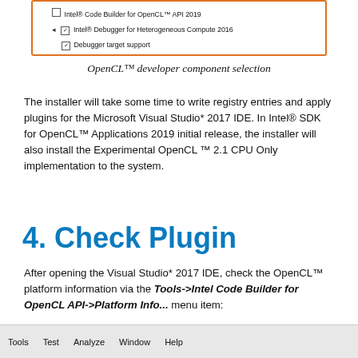[Figure (screenshot): Screenshot of an installer component selection dialog with orange border, showing checkboxes for Intel Code Builder for OpenCL API 2019 and Intel Debugger for Heterogeneous Compute 2016 with Debugger target support checked]
OpenCL™ developer component selection
The installer will take some time to write registry entries and apply plugins for the Microsoft Visual Studio* 2017 IDE. In Intel® SDK for OpenCL™ Applications 2019 initial release, the installer will also install the Experimental OpenCL ™ 2.1 CPU Only implementation to the system.
4. Check Plugin
After opening the Visual Studio* 2017 IDE, check the OpenCL™ platform information via the Tools->Intel Code Builder for OpenCL API->Platform Info... menu item:
[Figure (screenshot): Screenshot of Visual Studio menu bar showing Tools, Test, Analyze, Window, Help menu items]